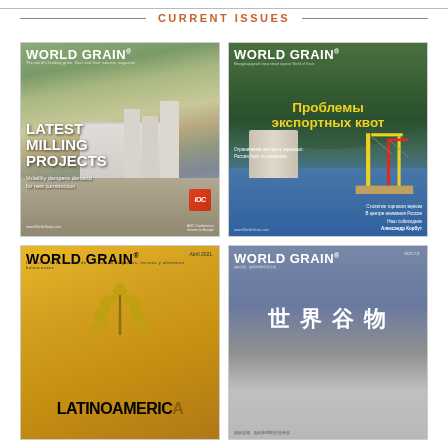CURRENT ISSUES
[Figure (photo): World Grain magazine cover - English edition featuring aerial photo of grain milling facility with headline LATEST MILLING PROJECTS and subheadline Volatility dampens demand for new construction]
[Figure (photo): World Grain magazine cover - Russian edition featuring aerial photo of port with cranes and headline in Russian Problemy eksportnykh kvot (Problems of export quotas)]
[Figure (photo): World Grain magazine cover - Latinoamerica Spanish edition with gold/yellow background featuring wheat graphic and headline LATINOAMERICA]
[Figure (photo): World Grain magazine cover - Chinese edition with blue/grey tones featuring Chinese characters for World Grain (世界谷物)]